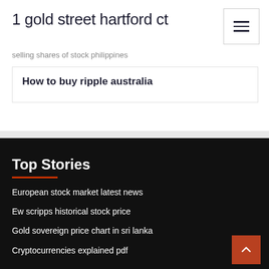1 gold street hartford ct
selling shares of stock philippines
How to buy ripple australia
Top Stories
European stock market latest news
Ew scripps historical stock price
Gold sovereign price chart in sri lanka
Cryptocurrencies explained pdf